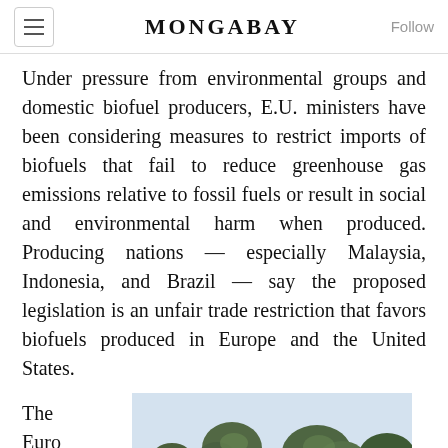MONGABAY
Under pressure from environmental groups and domestic biofuel producers, E.U. ministers have been considering measures to restrict imports of biofuels that fail to reduce greenhouse gas emissions relative to fossil fuels or result in social and environmental harm when produced. Producing nations — especially Malaysia, Indonesia, and Brazil — say the proposed legislation is an unfair trade restriction that favors biofuels produced in Europe and the United States.
The Euro
[Figure (photo): Trees against a light blue sky, partial view of a forest canopy]